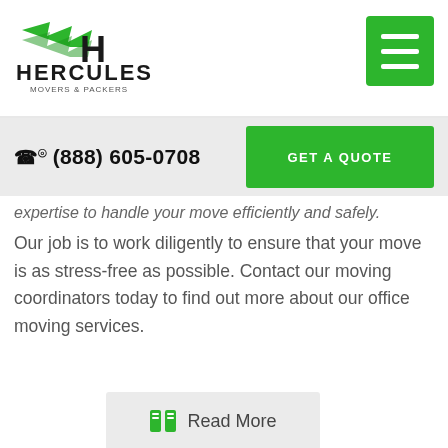[Figure (logo): Hercules Movers & Packers logo with green swoosh and H letter mark]
(888) 605-0708
GET A QUOTE
expertise to handle your move efficiently and safely.
Our job is to work diligently to ensure that your move is as stress-free as possible. Contact our moving coordinators today to find out more about our office moving services.
Read More
[Figure (photo): Road signs showing Beaumont, Memorial Blvd, Groves directions, with a Hercules Movers truck billboard visible]